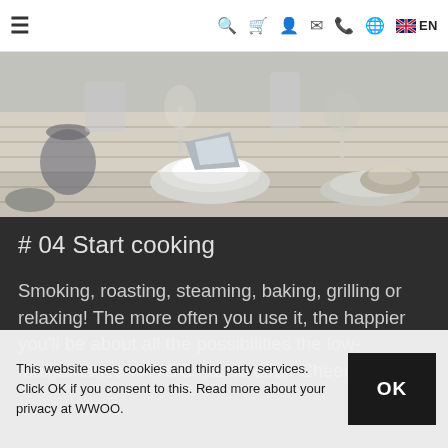≡  🔍  🛒  👤  ✉  📞  🌐  🇬🇧 EN
[Figure (photo): Outdoor table set with plates, bowls, glasses and napkins on a wooden table]
# 04 Start cooking
Smoking, roasting, steaming, baking, grilling or relaxing! The more often you use it, the happier you'll be about all the possibilities the low-maintenance WWOO has to offer. Cheers!
This website uses cookies and third party services. Click OK if you consent to this. Read more about your privacy at WWOO.